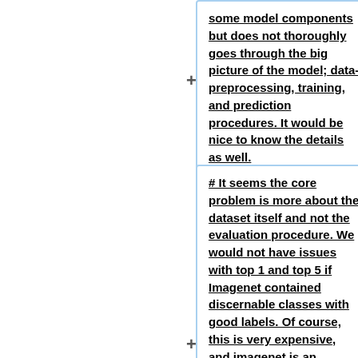some model components but does not thoroughly goes through the big picture of the model; data-preprocessing, training, and prediction procedures. It would be nice to know the details as well.
# It seems the core problem is more about the dataset itself and not the evaluation procedure. We would not have issues with top 1 and top 5 if Imagenet contained discernable classes with good labels. Of course, this is very expensive, and imagenet is an _excellent_ dataset given these constraints. It does not seem like their proposed solution, multiple labels per image